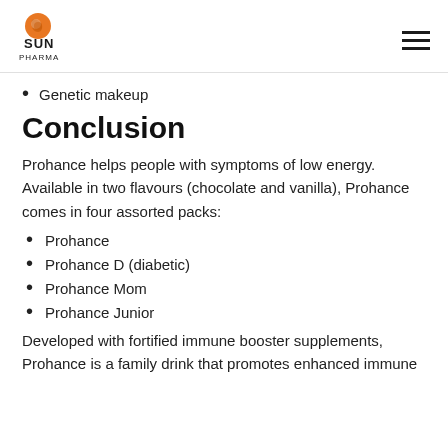Sun Pharma logo with hamburger menu
Genetic makeup
Conclusion
Prohance helps people with symptoms of low energy. Available in two flavours (chocolate and vanilla), Prohance comes in four assorted packs:
Prohance
Prohance D (diabetic)
Prohance Mom
Prohance Junior
Developed with fortified immune booster supplements, Prohance is a family drink that promotes enhanced immune